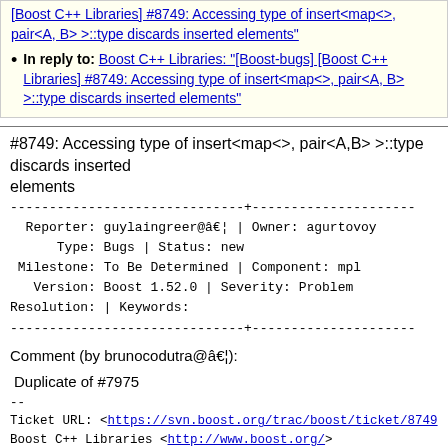[Boost C++ Libraries] #8749: Accessing type of insert<map<>, pair<A, B> >::type discards inserted elements"
In reply to: Boost C++ Libraries: "[Boost-bugs] [Boost C++ Libraries] #8749: Accessing type of insert<map<>, pair<A, B> >::type discards inserted elements"
#8749: Accessing type of insert<map<>, pair<A,B> >::type discards inserted elements
Reporter: guylaingreer@â€¦ | Owner: agurtovoy
Type: Bugs | Status: new
Milestone: To Be Determined | Component: mpl
Version: Boost 1.52.0 | Severity: Problem
Resolution: | Keywords:
Comment (by brunocodutra@â€¦):
Duplicate of #7975
--
Ticket URL: <https://svn.boost.org/trac/boost/ticket/8749
Boost C++ Libraries <http://www.boost.org/>